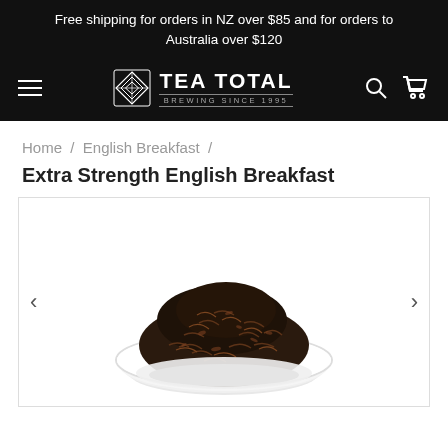Free shipping for orders in NZ over $85 and for orders to Australia over $120
[Figure (logo): Tea Total logo with diamond geometric icon and text 'TEA TOTAL BREWING SINCE 1995']
Home / English Breakfast /
Extra Strength English Breakfast
[Figure (photo): A white bowl filled with dark loose-leaf black tea (Extra Strength English Breakfast) on a white background, shown in a product image carousel with left and right navigation arrows.]